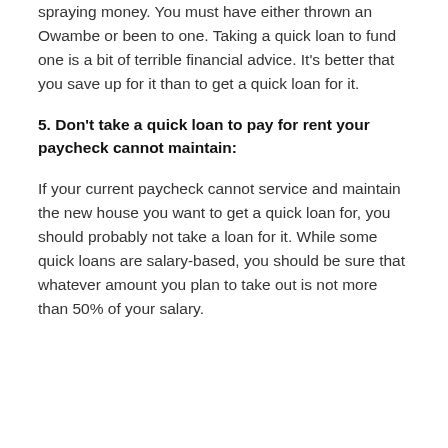spraying money. You must have either thrown an Owambe or been to one. Taking a quick loan to fund one is a bit of terrible financial advice. It's better that you save up for it than to get a quick loan for it.
5. Don't take a quick loan to pay for rent your paycheck cannot maintain:
If your current paycheck cannot service and maintain the new house you want to get a quick loan for, you should probably not take a loan for it. While some quick loans are salary-based, you should be sure that whatever amount you plan to take out is not more than 50% of your salary.